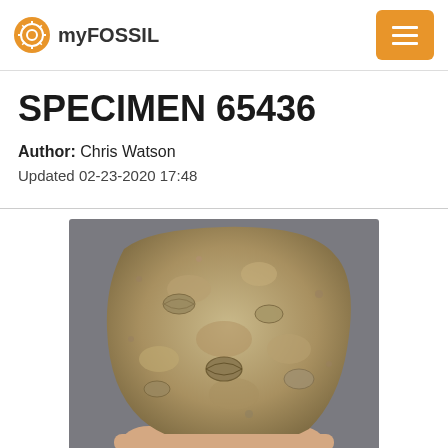myFOSSIL
SPECIMEN 65436
Author: Chris Watson
Updated 02-23-2020 17:48
[Figure (photo): A hand holding a rough sandstone rock specimen containing embedded fossil shells/brachiopods, photographed outdoors against a grey background.]